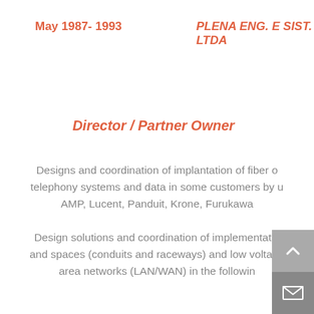May 1987- 1993
PLENA ENG. E SIST. LTDA
Director / Partner Owner
Designs and coordination of implantation of fiber o telephony systems and data in some customers by u AMP, Lucent, Panduit, Krone, Furukawa
Design solutions and coordination of implementatio and spaces (conduits and raceways) and low voltage area networks (LAN/WAN) in the followin